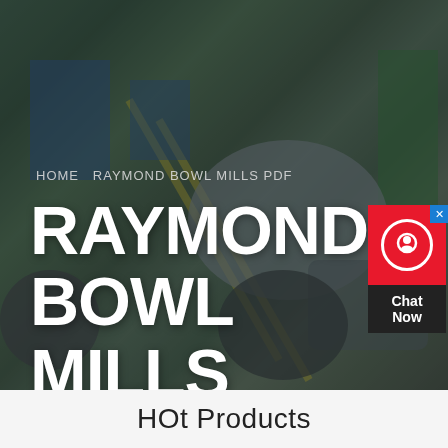[Figure (photo): Aerial/overhead view of an industrial factory floor with heavy machinery, equipment in blue and green colors, yellow floor stripe markings. Dark overlay applied. Used as hero background image.]
HOME   RAYMOND BOWL MILLS PDF
RAYMOND BOWL MILLS PDF
Chat Now
HOt Products